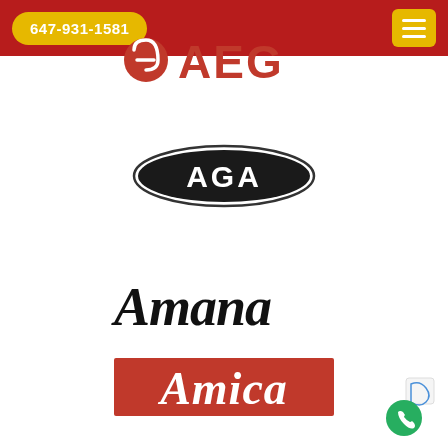647-931-1581
[Figure (logo): AEG brand logo in red: Electrolux circle icon followed by bold red letters AEG]
[Figure (logo): AGA brand logo: black oval/shield shape with white bold letters AGA]
[Figure (logo): Amana brand logo: black italic serif text spelling Amana]
[Figure (logo): Amica brand logo: white italic text on red rectangular background, partially visible at bottom of page]